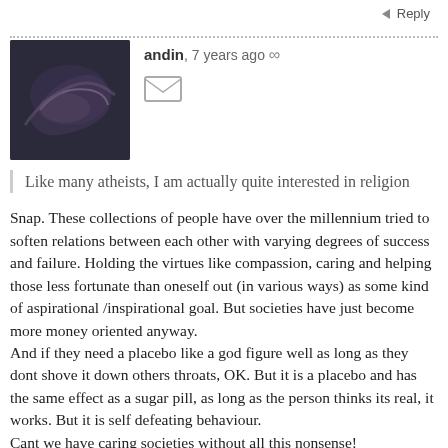Reply
[Figure (photo): User avatar showing a reclining figure in dark blue/grey tones]
andin, 7 years ago ∞
Like many atheists, I am actually quite interested in religion
Snap. These collections of people have over the millennium tried to soften relations between each other with varying degrees of success and failure. Holding the virtues like compassion, caring and helping those less fortunate than oneself out (in various ways) as some kind of aspirational /inspirational goal. But societies have just become more money oriented anyway.
And if they need a placebo like a god figure well as long as they dont shove it down others throats, OK. But it is a placebo and has the same effect as a sugar pill, as long as the person thinks its real, it works. But it is self defeating behaviour.
Cant we have caring societies without all this nonsense!